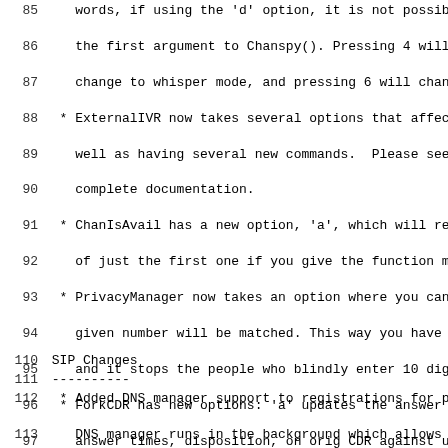Lines 85-108: Code/documentation text about Chanspy, ExternalIVR, ChanIsAvail, PrivacyManager, ForkCDR, Dial(), SendImage() options
SIP Changes
----------
Lines 112-116: SIP Changes notes about DNS manager, performance improvements